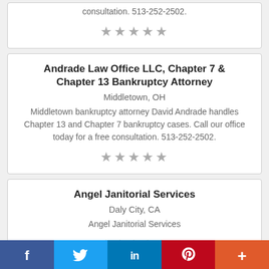consultation. 513-252-2502.
★★★★★
Andrade Law Office LLC, Chapter 7 & Chapter 13 Bankruptcy Attorney
Middletown, OH
Middletown bankruptcy attorney David Andrade handles Chapter 13 and Chapter 7 bankruptcy cases. Call our office today for a free consultation. 513-252-2502.
★★★★★
Angel Janitorial Services
Daly City, CA
Angel Janitorial Services
★★★★★
f  🐦  in  P  +